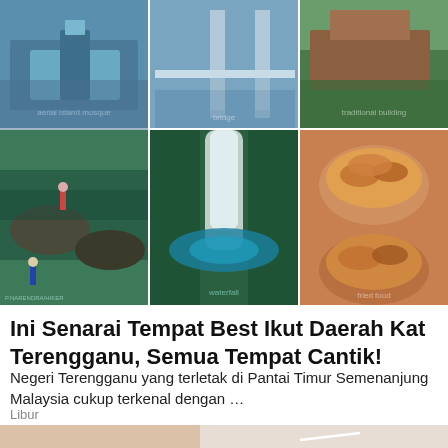[Figure (photo): 3x2 grid of travel photos showing Terengganu: aerial mosque on island, bridge over water, traditional building with garden, people swimming in river with rocks, waterfall in jungle, fried food in bowls]
Ini Senarai Tempat Best Ikut Daerah Kat Terengganu, Semua Tempat Cantik!
Negeri Terengganu yang terletak di Pantai Timur Semenanjung Malaysia cukup terkenal dengan …
Libur
[Figure (photo): Close-up side profile of a blonde woman's face near tiled wall with white arrows pointing at her mouth/lips area]